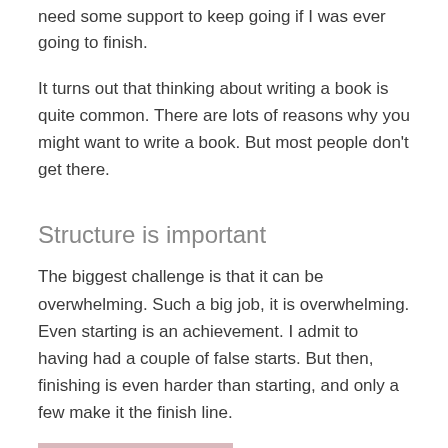need some support to keep going if I was ever going to finish.
It turns out that thinking about writing a book is quite common. There are lots of reasons why you might want to write a book. But most people don't get there.
Structure is important
The biggest challenge is that it can be overwhelming. Such a big job, it is overwhelming. Even starting is an achievement. I admit to having had a couple of false starts. But then, finishing is even harder than starting, and only a few make it the finish line.
[Figure (photo): Pink/mauve colored rectangular image, partially visible at bottom of page]
The first thing for me was to find someone who could give me a